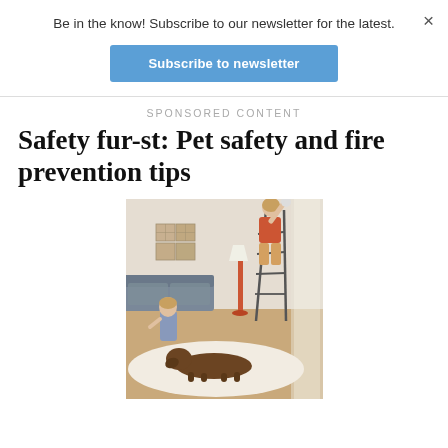Be in the know! Subscribe to our newsletter for the latest.
Subscribe to newsletter
SPONSORED CONTENT
Safety fur-st: Pet safety and fire prevention tips
[Figure (photo): A woman standing on a step ladder reaching up toward the ceiling (likely changing a smoke detector battery) in a living room, with a young child standing nearby and a large fluffy brown dog lying on a white rug on the floor.]